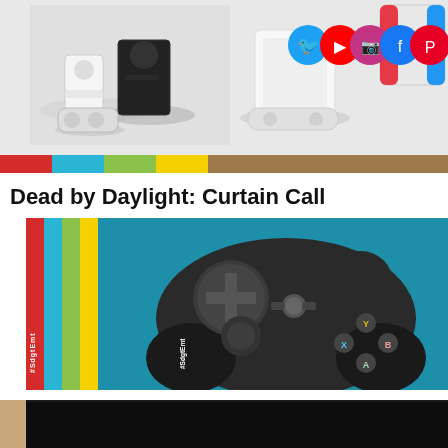[Figure (screenshot): Header banner showing gaming consoles (Xbox Series X/S, PS5) and social media icons (Twitter, YouTube, Instagram, Facebook, Pinterest), with Nintendo Switch controllers visible]
Dead by Daylight: Curtain Call
[Figure (photo): Steam controller (game controller) on a blue background with colored vertical stripes (red, blue, green, yellow) on the left side and #SdgtEmt hashtag text]
[Figure (screenshot): Bottom partial image strip showing a dark/black background, partially visible]